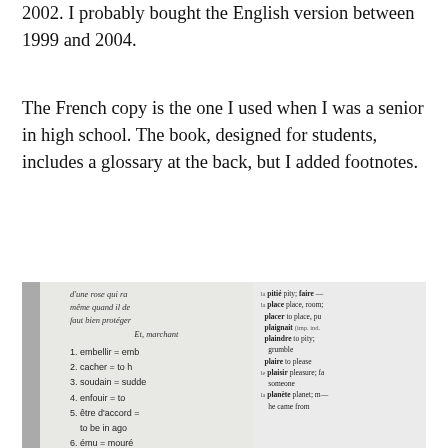2002. I probably bought the English version between 1999 and 2004.
The French copy is the one I used when I was a senior in high school. The book, designed for students, includes a glossary at the back, but I added footnotes.
[Figure (photo): A photograph of an open book showing two pages. The left page shows printed French text in italics and handwritten footnotes numbered 1-7 in the margins (e.g. embellir = emb, cacher = to h, soudain = sudden, enfouir = to, être d'accord, to be in ago, ému = moved, une écore = ). The right page shows a French-English glossary with entries for pitié, place, placer, plaignait, plaindre, plaire, plaisir, planète.]